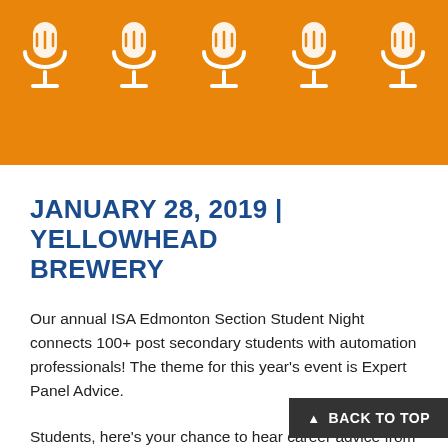[Figure (illustration): Orange banner header with five white microphone icons arranged horizontally]
JANUARY 28, 2019 | YELLOWHEAD BREWERY
Our annual ISA Edmonton Section Student Night connects 100+ post secondary students with automation professionals! The theme for this year's event is Expert Panel Advice.
Students, here's your chance to hear career advice from a panel of automation industry experts (Managers, Directors